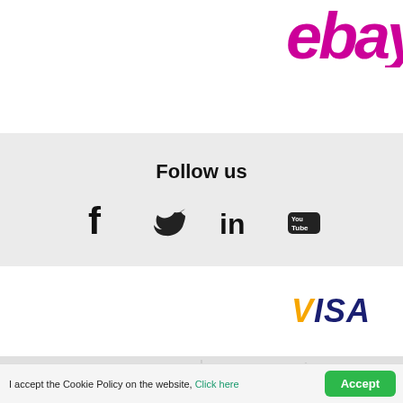[Figure (logo): eBay logo in pink/magenta cursive font, partially visible at top right]
[Figure (infographic): Follow us section with Facebook, Twitter, LinkedIn, and YouTube social media icons on grey background]
[Figure (logo): VISA payment logo with gold V and dark blue ISA]
[Figure (infographic): Bottom bar with two person/user icons, split left and right]
I accept the Cookie Policy on the website, Click here
Accept